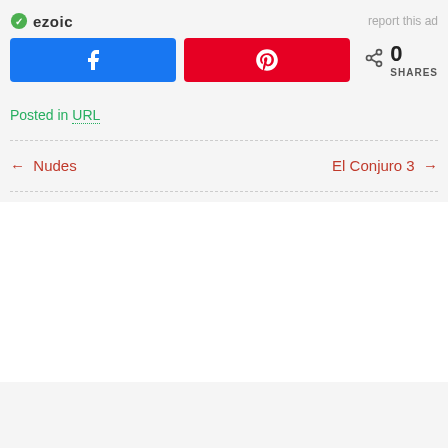[Figure (logo): Ezoic logo with green circular icon and bold 'ezoic' text, with 'report this ad' text on the right]
[Figure (infographic): Social share buttons: blue Facebook button, red Pinterest button, share icon with 0 SHARES count]
Posted in URL
← Nudes
El Conjuro 3 →